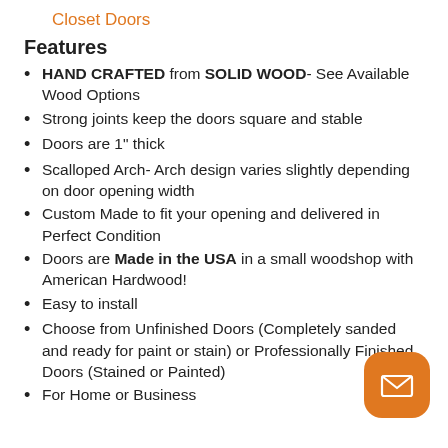Closet Doors
Features
HAND CRAFTED from SOLID WOOD- See Available Wood Options
Strong joints keep the doors square and stable
Doors are 1" thick
Scalloped Arch- Arch design varies slightly depending on door opening width
Custom Made to fit your opening and delivered in Perfect Condition
Doors are Made in the USA in a small woodshop with American Hardwood!
Easy to install
Choose from Unfinished Doors (Completely sanded and ready for paint or stain) or Professionally Finished Doors (Stained or Painted)
For Home or Business